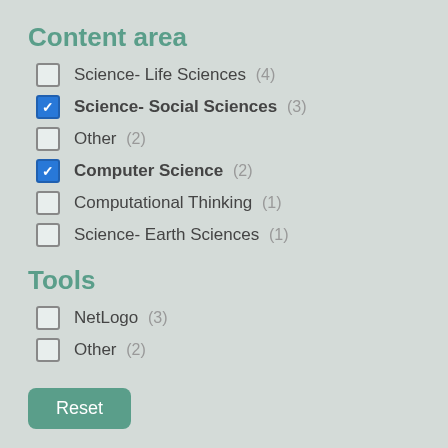Content area
Science- Life Sciences (4)
Science- Social Sciences (3)
Other (2)
Computer Science (2)
Computational Thinking (1)
Science- Earth Sciences (1)
Tools
NetLogo (3)
Other (2)
Reset